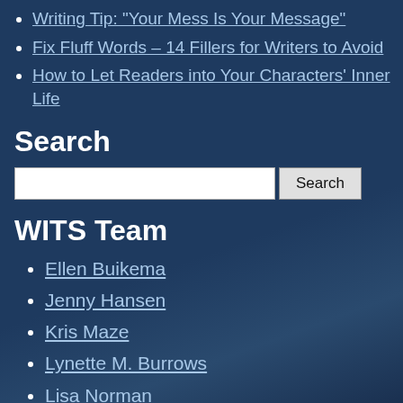Writing Tip: "Your Mess Is Your Message"
Fix Fluff Words – 14 Fillers for Writers to Avoid
How to Let Readers into Your Characters' Inner Life
Search
WITS Team
Ellen Buikema
Jenny Hansen
Kris Maze
Lynette M. Burrows
Lisa Norman
Categories